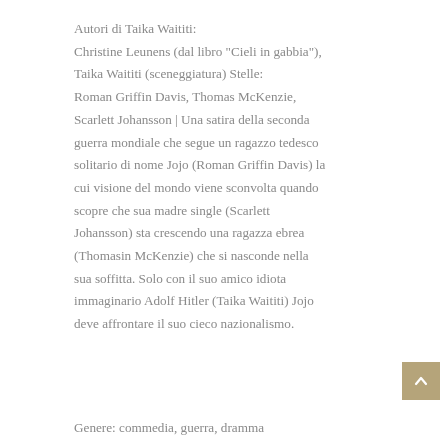Autori di Taika Waititi: Christine Leunens (dal libro "Cieli in gabbia"), Taika Waititi (sceneggiatura) Stelle: Roman Griffin Davis, Thomas McKenzie, Scarlett Johansson | Una satira della seconda guerra mondiale che segue un ragazzo tedesco solitario di nome Jojo (Roman Griffin Davis) la cui visione del mondo viene sconvolta quando scopre che sua madre single (Scarlett Johansson) sta crescendo una ragazza ebrea (Thomasin McKenzie) che si nasconde nella sua soffitta. Solo con il suo amico idiota immaginario Adolf Hitler (Taika Waititi) Jojo deve affrontare il suo cieco nazionalismo.
Genere: commedia, guerra, dramma